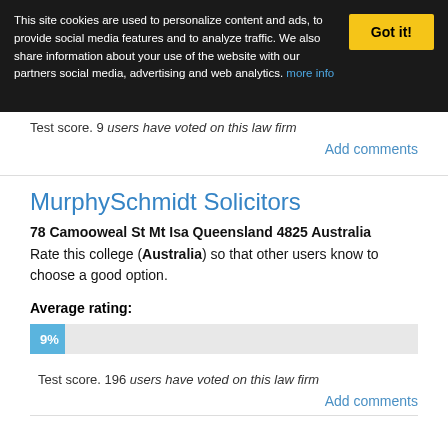This site cookies are used to personalize content and ads, to provide social media features and to analyze traffic. We also share information about your use of the website with our partners social media, advertising and web analytics. more info
Got it!
Test score. 9 users have voted on this law firm
Add comments
MurphySchmidt Solicitors
78 Camooweal St Mt Isa Queensland 4825 Australia
Rate this college (Australia) so that other users know to choose a good option.
Average rating:
[Figure (bar-chart): Average rating]
Test score. 196 users have voted on this law firm
Add comments